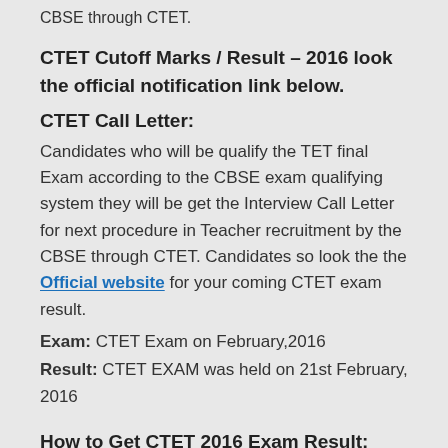CBSE through CTET.
CTET Cutoff Marks / Result – 2016 look the official notification link below.
CTET Call Letter:
Candidates who will be qualify the TET final Exam according to the CBSE exam qualifying system they will be get the Interview Call Letter for next procedure in Teacher recruitment by the CBSE through CTET. Candidates so look the the Official website for your coming CTET exam result.
Exam: CTET Exam on February,2016
Result: CTET EXAM was held on 21st February, 2016
How to Get CTET 2016 Exam Result:
Candidates open the official website first.
Now look the Result link and click on the button.